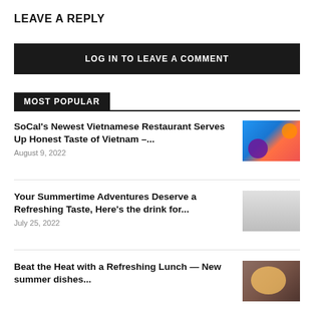LEAVE A REPLY
LOG IN TO LEAVE A COMMENT
MOST POPULAR
SoCal's Newest Vietnamese Restaurant Serves Up Honest Taste of Vietnam –...
August 9, 2022
[Figure (photo): Food delivery boxes with Vietnamese food]
Your Summertime Adventures Deserve a Refreshing Taste, Here's the drink for...
July 25, 2022
[Figure (photo): Two people posing with drinks]
Beat the Heat with a Refreshing Lunch — New summer dishes...
[Figure (photo): Bowl of food]